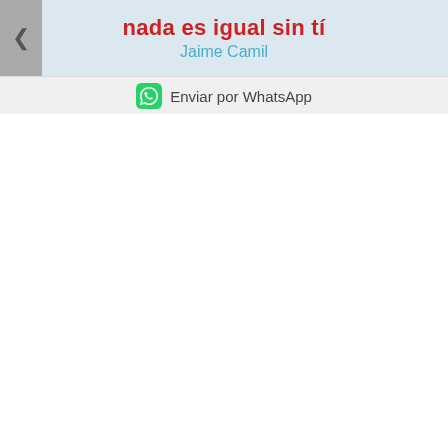nada es igual sin tí — Jaime Camil
Enviar por WhatsApp